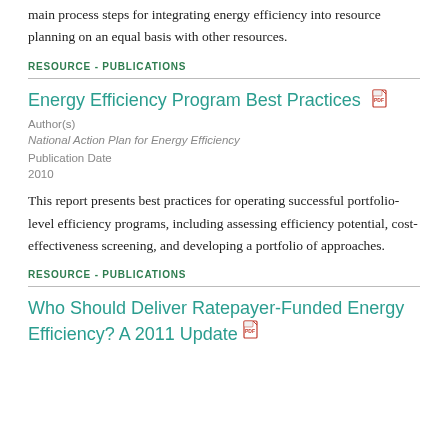main process steps for integrating energy efficiency into resource planning on an equal basis with other resources.
RESOURCE - PUBLICATIONS
Energy Efficiency Program Best Practices
Author(s)
National Action Plan for Energy Efficiency
Publication Date
2010
This report presents best practices for operating successful portfolio-level efficiency programs, including assessing efficiency potential, cost-effectiveness screening, and developing a portfolio of approaches.
RESOURCE - PUBLICATIONS
Who Should Deliver Ratepayer-Funded Energy Efficiency? A 2011 Update